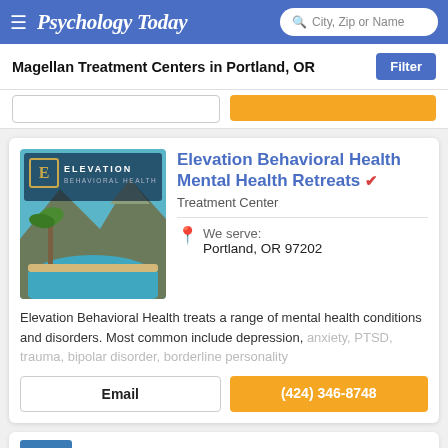Psychology Today — City, Zip or Name search header
Magellan Treatment Centers in Portland, OR
[Figure (screenshot): Elevation Behavioral Health facility photo showing a pool and mountainous landscape with the Elevation Behavioral Health logo overlay]
Elevation Behavioral Health Mental Health Retreats
Treatment Center
We serve: Portland, OR 97202
Elevation Behavioral Health treats a range of mental health conditions and disorders. Most common include depression, anxiety, PTSD, trauma, bipolar disorder, borderline personality
Email
(424) 346-8748